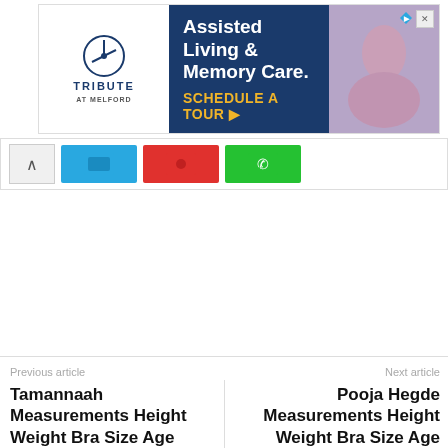[Figure (other): Advertisement banner for Tribute at Melford Assisted Living & Memory Care with Schedule A Tour CTA]
[Figure (other): Social share bar with up arrow, blue, red, and green share buttons]
Previous article
Tamannaah Measurements Height Weight Bra Size Age
Next article
Pooja Hegde Measurements Height Weight Bra Size Age
[Figure (photo): Generic user avatar placeholder image in gray]
Celebritiesdetails
https://www.celebritiesdetails.com